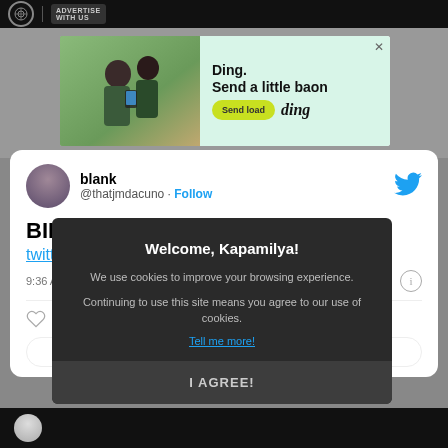ADVERTISE WITH US
[Figure (screenshot): Advertisement banner: Ding app - Send a little baon - Send load]
[Figure (screenshot): Tweet card from user 'blank' @thatjmdacuno with Follow button, truncated tweet text 'BIIIIIIIIIN', twitter.c link, timestamp 9:36 AM]
[Figure (screenshot): Cookie consent modal overlay on dark background: 'Welcome, Kapamilya!' with cookie use notice, Tell me more link, and I AGREE! button]
[Figure (screenshot): Bottom black strip with circular avatar]